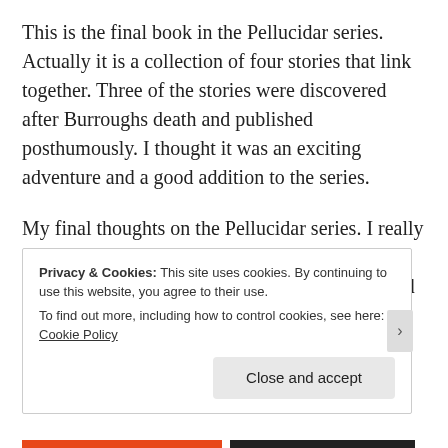This is the final book in the Pellucidar series. Actually it is a collection of four stories that link together. Three of the stories were discovered after Burroughs death and published posthumously. I thought it was an exciting adventure and a good addition to the series.
My final thoughts on the Pellucidar series. I really think it was a unique idea. I am always a sucker for lost prehistoric worlds. He created a rich land full of endless possibilities.
Privacy & Cookies: This site uses cookies. By continuing to use this website, you agree to their use. To find out more, including how to control cookies, see here: Cookie Policy